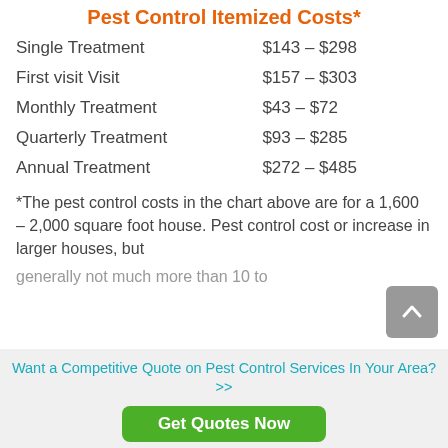Pest Control Itemized Costs*
| Service | Cost Range |
| --- | --- |
| Single Treatment | $143 – $298 |
| First visit Visit | $157 – $303 |
| Monthly Treatment | $43 – $72 |
| Quarterly Treatment | $93 – $285 |
| Annual Treatment | $272 – $485 |
*The pest control costs in the chart above are for a 1,600 – 2,000 square foot house. Pest control cost or increase in larger houses, but generally not much more than 10 to
Want a Competitive Quote on Pest Control Services In Your Area? >>
Get Quotes Now